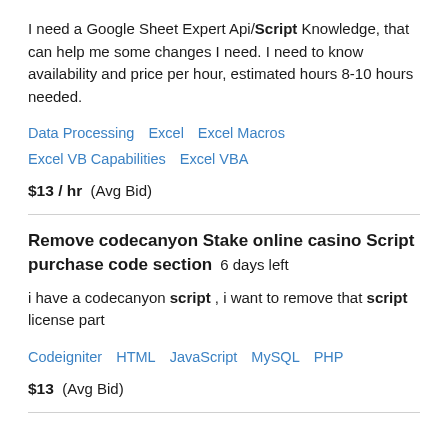I need a Google Sheet Expert Api/Script Knowledge, that can help me some changes I need. I need to know availability and price per hour, estimated hours 8-10 hours needed.
Data Processing   Excel   Excel Macros   Excel VB Capabilities   Excel VBA
$13 / hr  (Avg Bid)
Remove codecanyon Stake online casino Script purchase code section  6 days left
i have a codecanyon script , i want to remove that script license part
Codeigniter   HTML   JavaScript   MySQL   PHP
$13  (Avg Bid)